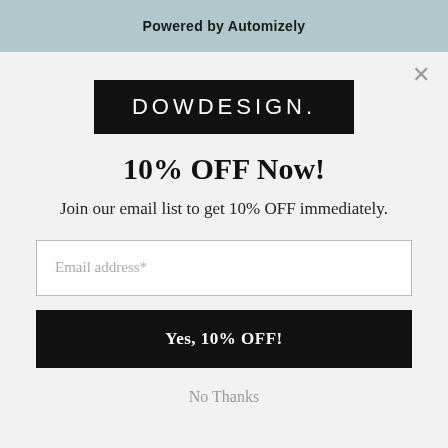Powered by Automizely
[Figure (logo): DOWDESIGN. logo — white text on black background]
10% OFF Now!
Join our email list to get 10% OFF immediately.
Email address*
Yes, 10% OFF!
No Thanks